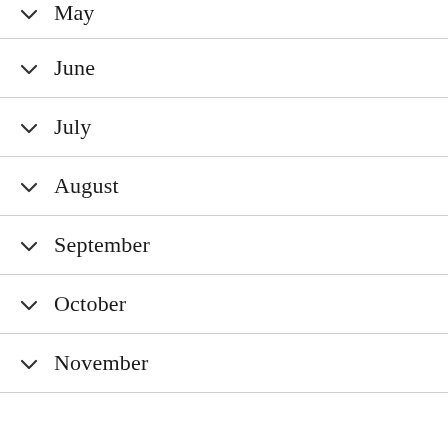May
June
July
August
September
October
November